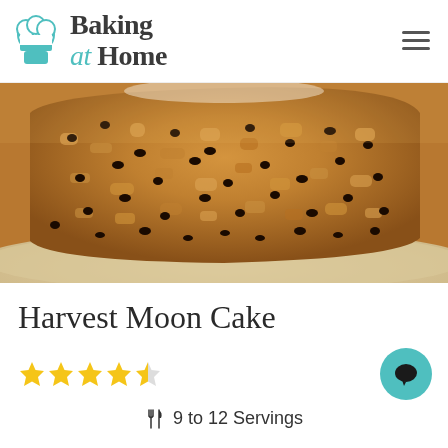Baking at Home
[Figure (photo): Close-up photo of a slice of Harvest Moon Cake on a plate — a golden-brown spiced cake studded with chocolate chips, showing the moist crumb texture.]
Harvest Moon Cake
★★★★½ (4.5 star rating)
✂ 9 to 12 Servings